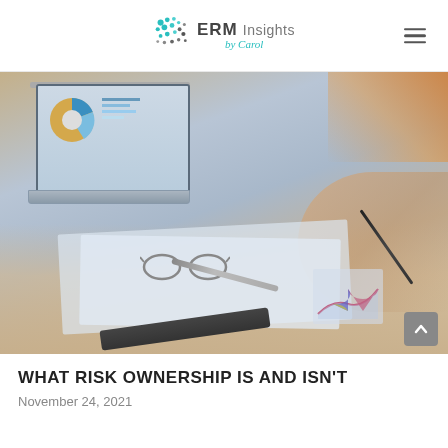ERM Insights by Carol
[Figure (photo): Business professionals reviewing financial documents and charts on a desk, with a laptop displaying pie charts, glasses, pen, and printed financial reports with charts visible]
WHAT RISK OWNERSHIP IS AND ISN'T
November 24, 2021